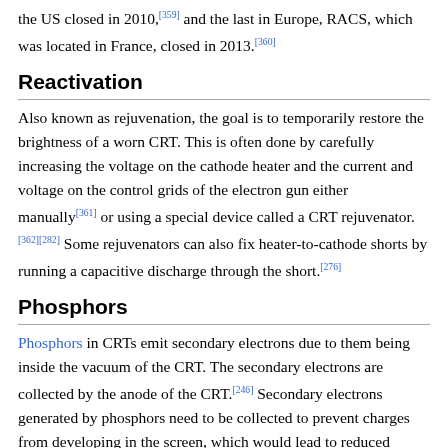the US closed in 2010,[359] and the last in Europe, RACS, which was located in France, closed in 2013.[360]
Reactivation
Also known as rejuvenation, the goal is to temporarily restore the brightness of a worn CRT. This is often done by carefully increasing the voltage on the cathode heater and the current and voltage on the control grids of the electron gun either manually[361] or using a special device called a CRT rejuvenator.[362][282] Some rejuvenators can also fix heater-to-cathode shorts by running a capacitive discharge through the short.[276]
Phosphors
Phosphors in CRTs emit secondary electrons due to them being inside the vacuum of the CRT. The secondary electrons are collected by the anode of the CRT.[246] Secondary electrons generated by phosphors need to be collected to prevent charges from developing in the screen, which would lead to reduced image brightness[22] since the charge would repel the electron beam.
The phosphors used in CRTs often contain rare earth metals,[363]